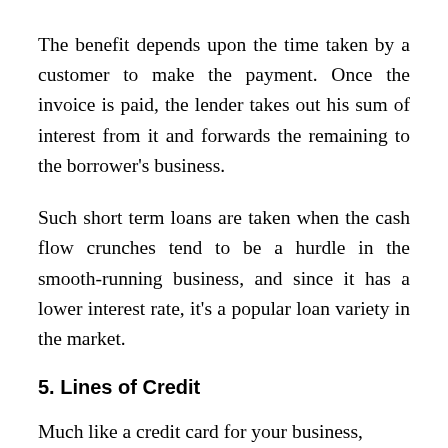The benefit depends upon the time taken by a customer to make the payment. Once the invoice is paid, the lender takes out his sum of interest from it and forwards the remaining to the borrower’s business.
Such short term loans are taken when the cash flow crunches tend to be a hurdle in the smooth-running business, and since it has a lower interest rate, it’s a popular loan variety in the market.
5. Lines of Credit
Much like a credit card for your business,